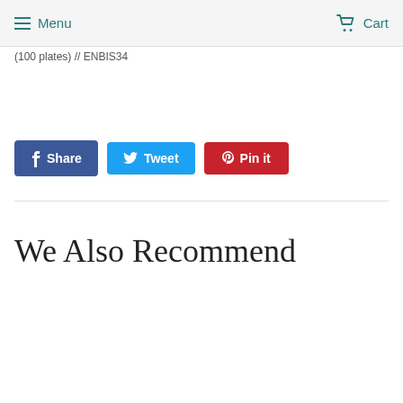Menu  Cart
(100 plates)  //  ENBIS34
Share  Tweet  Pin it
We Also Recommend